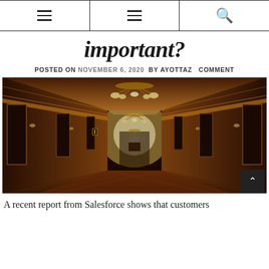≡  ≡  🔍
important?
POSTED ON NOVEMBER 6, 2020  BY AYOTTAZ  COMMENT
[Figure (photo): A hotel corridor with warm golden lighting, chandeliers hanging from the ceiling, dark wood-paneled walls, and a long carpeted hallway receding into the distance.]
A recent report from Salesforce shows that customers